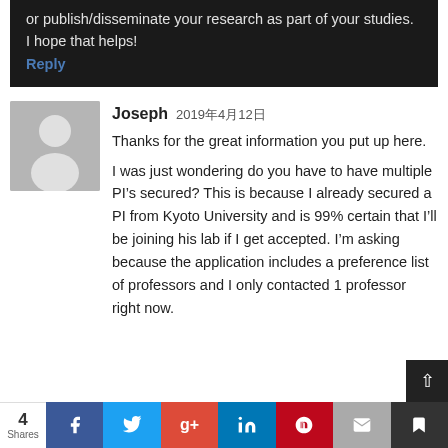or publish/disseminate your research as part of your studies. I hope that helps!
Reply
Joseph 2019年4月12日
Thanks for the great information you put up here.
I was just wondering do you have to have multiple PI's secured? This is because I already secured a PI from Kyoto University and is 99% certain that I'll be joining his lab if I get accepted. I'm asking because the application includes a preference list of professors and I only contacted 1 professor right now.
4 Shares | Facebook | Twitter | Google+ | LinkedIn | Pinterest | Email | Bookmark